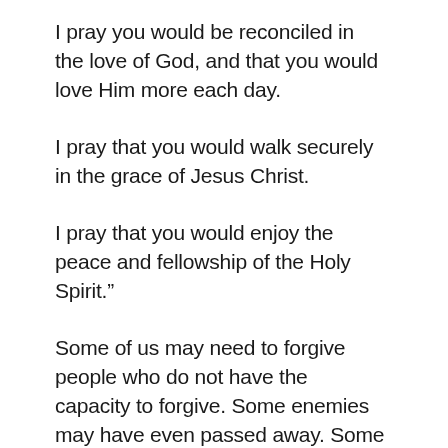I pray you would be reconciled in the love of God, and that you would love Him more each day.
I pray that you would walk securely in the grace of Jesus Christ.
I pray that you would enjoy the peace and fellowship of the Holy Spirit.”
Some of us may need to forgive people who do not have the capacity to forgive. Some enemies may have even passed away. Some of us may need to forgive anew every single day.